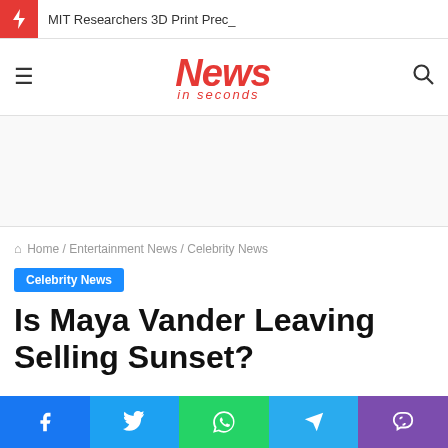MIT Researchers 3D Print Prec_
[Figure (logo): News in seconds logo with hamburger menu and search icon]
Home / Entertainment News / Celebrity News
Celebrity News
Is Maya Vander Leaving Selling Sunset?
[Figure (infographic): Social sharing bar with Facebook, Twitter, WhatsApp, Telegram, and Viber buttons]